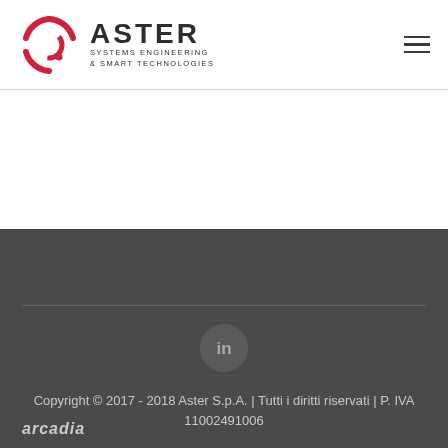[Figure (logo): Aster Systems Engineering & Smart Technologies logo with red circular arc icon and dark text]
[Figure (illustration): Hamburger menu icon (three horizontal lines) in dark color, top right corner]
[Figure (logo): LinkedIn circle icon in grey, centered in footer area]
Copyright © 2017 - 2018 Aster S.p.A. | Tutti i diritti riservati | P. IVA 11002491006
arcadia